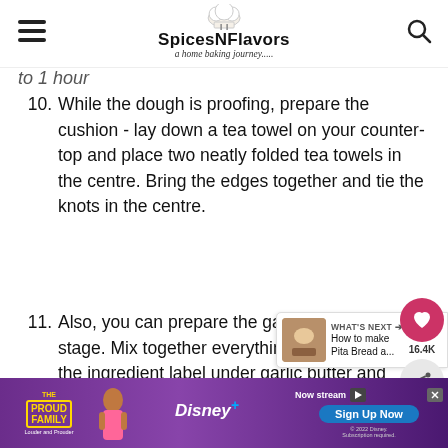SpicesNFlavors — a home baking journey.....
to 1 hour
While the dough is proofing, prepare the cushion - lay down a tea towel on your counter-top and place two neatly folded tea towels in the centre. Bring the edges together and tie the knots in the centre.
Also, you can prepare the garlic butter at this stage. Mix together everything mentioned in the ingredient label under garlic butter and keep ready.